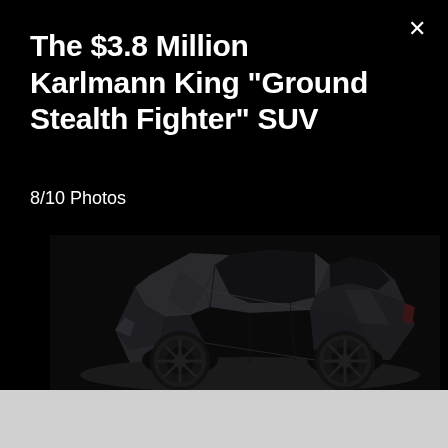The $3.8 Million Karlmann King "Ground Stealth Fighter" SUV
8/10 Photos
[Figure (photo): Side profile of the Karlmann King SUV, a large angular dark matte black vehicle with faceted geometric body panels, off-road tires, photographed against a dark black background.]